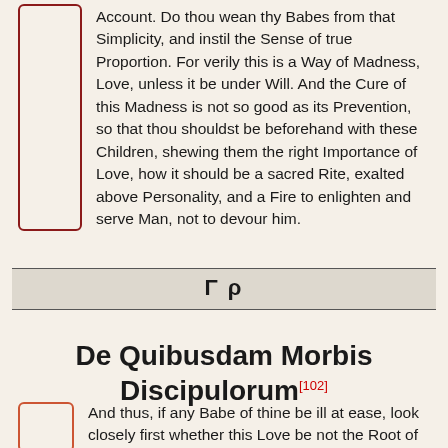Account. Do thou wean thy Babes from that Simplicity, and instil the Sense of true Proportion. For verily this is a Way of Madness, Love, unless it be under Will. And the Cure of this Madness is not so good as its Prevention, so that thou shouldst be beforehand with these Children, shewing them the right Importance of Love, how it should be a sacred Rite, exalted above Personality, and a Fire to enlighten and serve Man, not to devour him.
Γ ρ
De Quibusdam Morbis Discipulorum[102]
And thus, if any Babe of thine be ill at ease, look closely first whether this Love be not the Root of